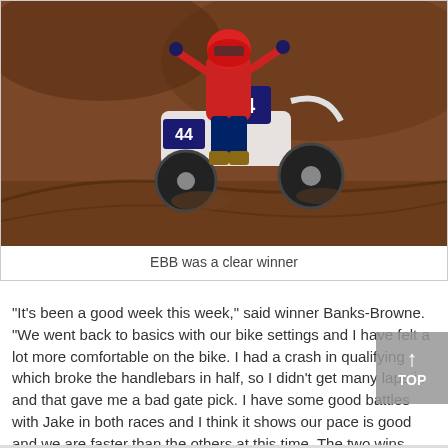[Figure (photo): Motocross rider wearing red and white gear with number 44 on a white dirt bike, navigating a dirt track with berms. The rider is leaning into a turn on muddy brown terrain.]
EBB was a clear winner
“It’s been a good week this week,” said winner Banks-Browne. “We went back to basics with our bike settings and I have felt a lot more comfortable on the bike. I had a crash in qualifying which broke the handlebars in half, so I didn’t get many laps in and that gave me a bad gate pick. I have some good battles with Jake in both races and I think it shows our pace is good and we are faster than the others at this time. The two wins were great, and I hope I can carry this over to the Maxxis and Blaxhall next weekend.”